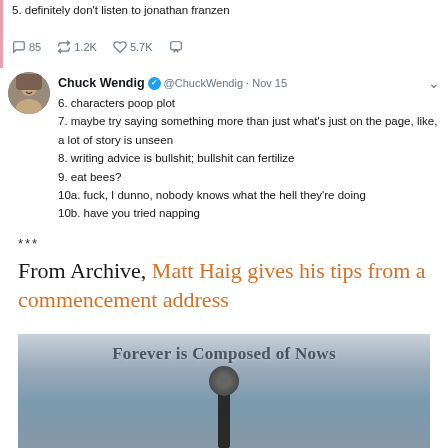5. definitely don't listen to jonathan franzen
85 replies, 1.2K retweets, 5.7K likes
Chuck Wendig @ChuckWendig · Nov 15
6. characters poop plot
7. maybe try saying something more than just what's just on the page, like, a lot of story is unseen
8. writing advice is bullshit; bullshit can fertilize
9. eat bees?
10a. fuck, I dunno, nobody knows what the hell they're doing
10b. have you tried napping
***
From Archive, Matt Haig gives his tips from a commencement address
[Figure (photo): Photo showing a lamp post or sculpture against a grey sky with the text 'Forever is Composed of Nows' overlaid at the top]